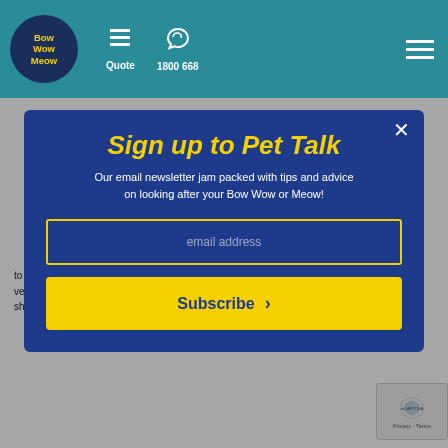Bow Wow Meow | Quote | 1800 668
Sign up to Pet Talk
Our email newsletter jam packed with tips and advice on looking after your Bow Wow or Meow!
email address
Subscribe
to review the Condition. To do so, your Vet will need to certify and provide veterinary records verifying that the Condition remains a Temporary Condition and has not existed, occurred or shown new signs, symptoms or an abnormality for a period of 18 months. The Pre-